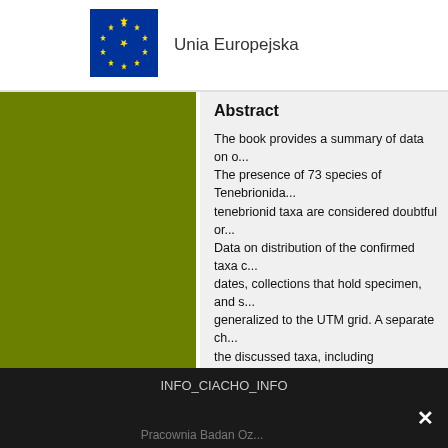[Figure (logo): EU flag (blue background with circle of yellow stars) followed by text 'Unia Europejska']
Abstract
The book provides a summary of data on o... The presence of 73 species of Tenebrionida... tenebrionid taxa are considered doubtful or... Data on distribution of the confirmed taxa c... dates, collections that hold specimen, and s... generalized to the UTM grid. A separate ch... the discussed taxa, including subspecies w... including synonymy is also provided separa... meta-analysis built upon a database coveri... and generalization techniques was used, g... species known in different parts of the coun... species richness fives a new quality to trad... be available online through the Biodiversity... Polish Biodiversity Information Network (KS...
Key words
Coleoptera, Tenebrionoidea, Tenebrionidae... distribution, meta-analysis, checkl...
INFO_CIACHO_INFO